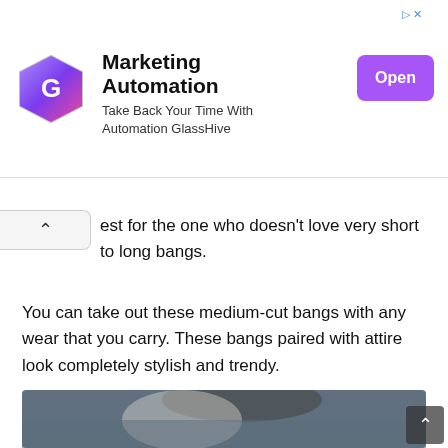[Figure (infographic): Advertisement banner for GlassHive Marketing Automation with logo, text 'Marketing Automation / Take Back Your Time With Automation GlassHive', and a purple 'Open' button]
est for the one who doesn't love very short to long bangs.
You can take out these medium-cut bangs with any wear that you carry. These bangs paired with attire look completely stylish and trendy.
13. Side Partition Hair Bun with Accessories
[Figure (photo): Photo of an older woman with silver/gray hair styled in a side-partition bun, accessorized with a white floral fascinator, against a blue-gray background]